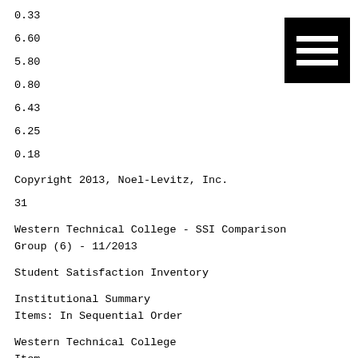0.33
6.60
5.80
0.80
6.43
6.25
0.18
[Figure (other): Hamburger menu icon: black square with three white horizontal bars]
Copyright 2013, Noel-Levitz, Inc.
31
Western Technical College - SSI Comparison Group (6) - 11/2013
Student Satisfaction Inventory
Institutional Summary
Items: In Sequential Order
Western Technical College
Item
Importance Satisfaction